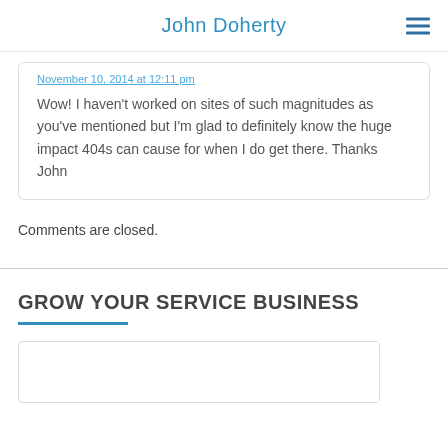John Doherty
November 10, 2014 at 12:11 pm
Wow! I haven't worked on sites of such magnitudes as you've mentioned but I'm glad to definitely know the huge impact 404s can cause for when I do get there. Thanks John
Comments are closed.
GROW YOUR SERVICE BUSINESS